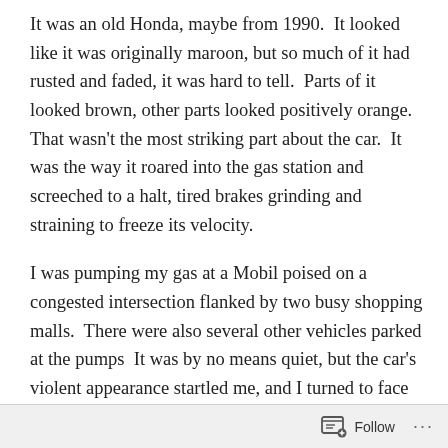It was an old Honda, maybe from 1990.  It looked like it was originally maroon, but so much of it had rusted and faded, it was hard to tell.  Parts of it looked brown, other parts looked positively orange. That wasn't the most striking part about the car.  It was the way it roared into the gas station and screeched to a halt, tired brakes grinding and straining to freeze its velocity.
I was pumping my gas at a Mobil poised on a congested intersection flanked by two busy shopping malls.  There were also several other vehicles parked at the pumps  It was by no means quiet, but the car's violent appearance startled me, and I turned to face it.  The one working headlight shut off, and a figure leaped out from behind the steering wheel.  In spite of the shadows, I could still make him out. Olivia his eyes last...
Follow ···